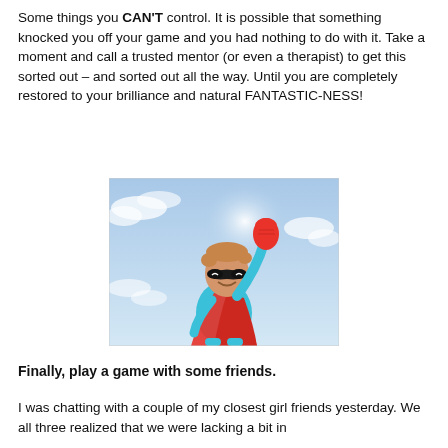Some things you CAN'T control. It is possible that something knocked you off your game and you had nothing to do with it. Take a moment and call a trusted mentor (or even a therapist) to get this sorted out – and sorted out all the way. Until you are completely restored to your brilliance and natural FANTASTIC-NESS!
[Figure (photo): A young boy dressed as a superhero wearing a red cape, red gloves, and a black eye mask, punching his fist in the air against a blue sky background.]
Finally, play a game with some friends.
I was chatting with a couple of my closest girl friends yesterday. We all three realized that we were lacking a bit in